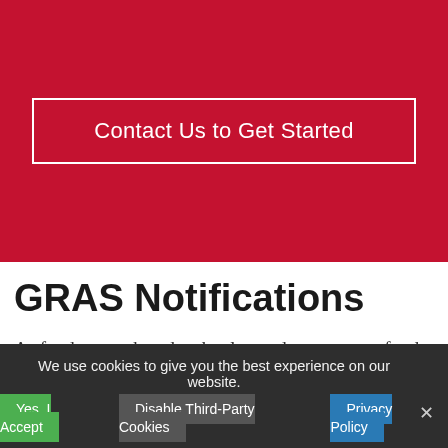Contact Us to Get Started
GRAS Notifications
As food research and technology advances, new food ingredients are often introduced into food manufacturing and the US food supply. However, food additives may only be used in conventional
We use cookies to give you the best experience on our website.
Yes, I Accept
Disable Third-Party Cookies
Privacy Policy